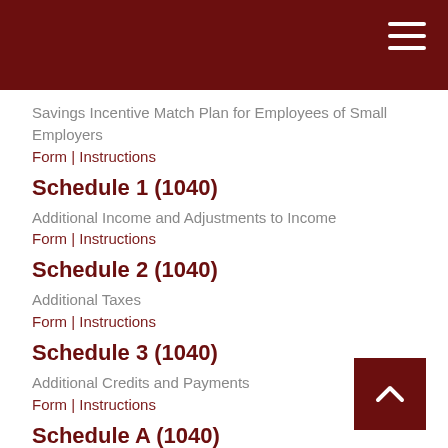Savings Incentive Match Plan for Employees of Small Employers
Form | Instructions
Schedule 1 (1040)
Additional Income and Adjustments to Income
Form | Instructions
Schedule 2 (1040)
Additional Taxes
Form | Instructions
Schedule 3 (1040)
Additional Credits and Payments
Form | Instructions
Schedule A (1040)